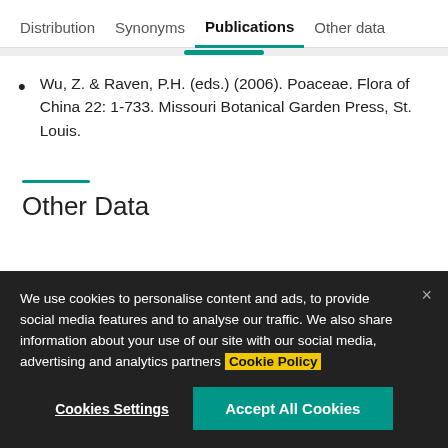Distribution | Synonyms | Publications | Other data
Wu, Z. & Raven, P.H. (eds.) (2006). Poaceae. Flora of China 22: 1-733. Missouri Botanical Garden Press, St. Louis.
Other Data
We use cookies to personalise content and ads, to provide social media features and to analyse our traffic. We also share information about your use of our site with our social media, advertising and analytics partners Cookie Policy
Cookies Settings | Accept All Cookies